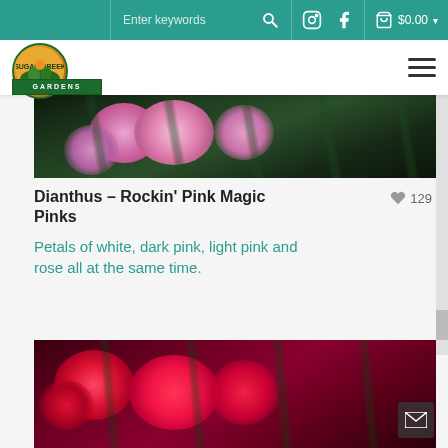Sugar Creek Gardens website header with search bar, Instagram, Facebook icons, cart $0.00
[Figure (logo): Sugar Creek Gardens circular logo with garden scene and green GARDENS text bar]
[Figure (photo): Close-up photo of pink and magenta Dianthus flowers with green foliage in dark background]
Dianthus – Rockin' Pink Magic Pinks
129
Petals of white, dark pink, light pink and rose all at the same time.
[Figure (photo): Close-up photo of deep red/crimson Dianthus flowers with green stems]